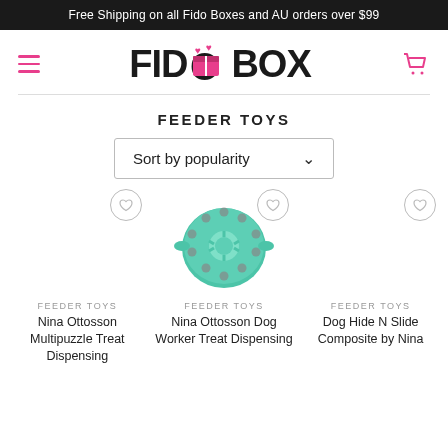Free Shipping on all Fido Boxes and AU orders over $99
[Figure (logo): Fido Box logo with hamburger menu icon on left and shopping cart icon on right. Logo shows FIDO BOX text in bold black with a pink gift box icon in the middle.]
FEEDER TOYS
Sort by popularity
[Figure (photo): Three product images in a row. Left: empty product placeholder with heart wishlist button. Center: green circular dog puzzle toy (Nina Ottosson Dog Worker) with heart wishlist button. Right: empty product placeholder with heart wishlist button.]
FEEDER TOYS
Nina Ottosson Multipuzzle Treat Dispensing
FEEDER TOYS
Nina Ottosson Dog Worker Treat Dispensing
FEEDER TOYS
Dog Hide N Slide Composite by Nina